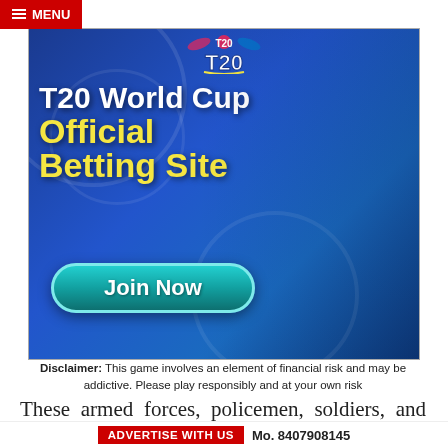MENU
[Figure (photo): T20 World Cup Official Betting Site advertisement banner featuring cricket players in action, with T20 logo, text 'T20 World Cup Official Betting Site' and a 'Join Now' button on a blue gradient background.]
Disclaimer: This game involves an element of financial risk and may be addictive. Please play responsibly and at your own risk
These armed forces, policemen, soldiers, and military personnel protected the country from enemies and the
ADVERTISE WITH US   Mo. 8407908145